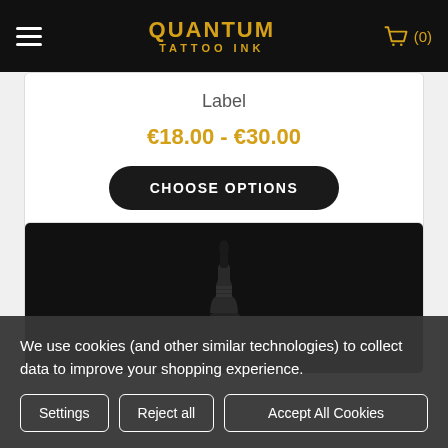QUANTUM TATTOO INK
Label
€18.00 - €30.00
CHOOSE OPTIONS
[Figure (photo): A black tattoo ink dropper bottle on a dark background]
We use cookies (and other similar technologies) to collect data to improve your shopping experience.
Settings   Reject all   Accept All Cookies